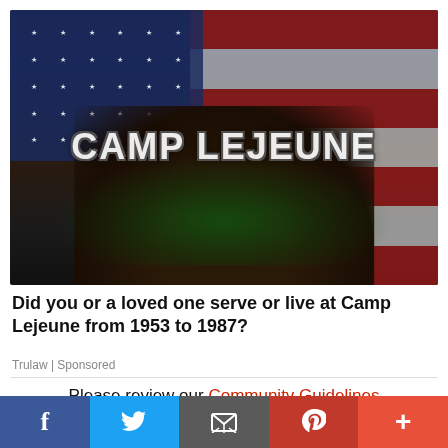[Figure (photo): Camp Lejeune advertisement image showing military boots with green toxic splash against an American flag background, with large white distressed text 'CAMP LEJEUNE' overlaid]
Did you or a loved one serve or live at Camp Lejeune from 1953 to 1987?
Trulaw | Sponsored
Please review our Community Guidelines before posting a comment. Thank you!